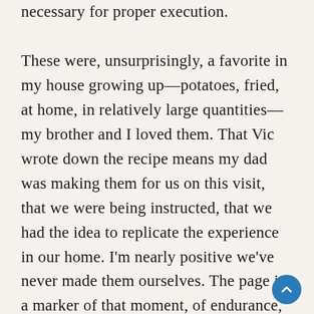necessary for proper execution.

These were, unsurprisingly, a favorite in my house growing up—potatoes, fried, at home, in relatively large quantities—my brother and I loved them. That Vic wrote down the recipe means my dad was making them for us on this visit, that we were being instructed, that we had the idea to replicate the experience in our home. I'm nearly positive we've never made them ourselves. The page is a marker of that moment, of endurance, and the lack